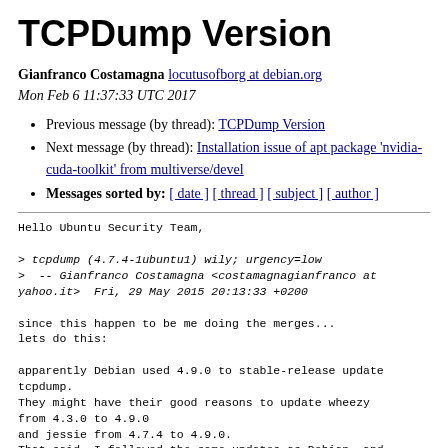TCPDump Version
Gianfranco Costamagna locutusofborg at debian.org
Mon Feb 6 11:37:33 UTC 2017
Previous message (by thread): TCPDump Version
Next message (by thread): Installation issue of apt package 'nvidia-cuda-toolkit' from multiverse/devel
Messages sorted by: [ date ] [ thread ] [ subject ] [ author ]
Hello Ubuntu Security Team,

> tcpdump (4.7.4-1ubuntu1) wily; urgency=low
>  -- Gianfranco Costamagna <costamagnagianfranco at yahoo.it>  Fri, 29 May 2015 20:13:33 +0200

since this happen to be me doing the merges...
lets do this:

apparently Debian used 4.9.0 to stable-release update tcpdump.
They might have their good reasons to update wheezy from 4.3.0 to 4.9.0
and jessie from 4.7.4 to 4.9.0.
That said, I followed the same updates as Debian, and